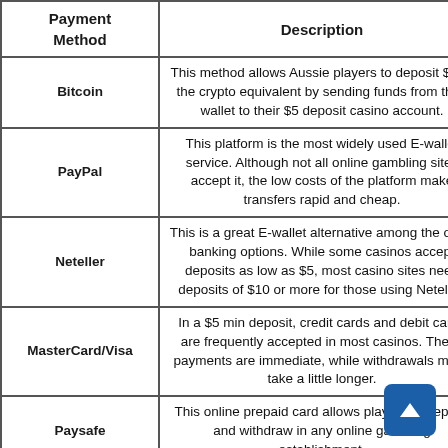| Payment Method | Description |
| --- | --- |
| Bitcoin | This method allows Aussie players to deposit $5 or the crypto equivalent by sending funds from their wallet to their $5 deposit casino account. |
| PayPal | This platform is the most widely used E-wallet service. Although not all online gambling sites accept it, the low costs of the platform make transfers rapid and cheap. |
| Neteller | This is a great E-wallet alternative among the other banking options. While some casinos accept deposits as low as $5, most casino sites need deposits of $10 or more for those using Neteller. |
| MasterCard/Visa | In a $5 min deposit, credit cards and debit cards are frequently accepted in most casinos. These payments are immediate, while withdrawals might take a little longer. |
| Paysafe | This online prepaid card allows players to deposit and withdraw in any online gambling establishment. |